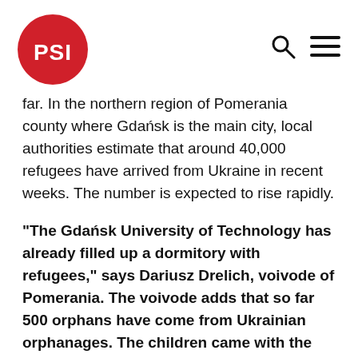[Figure (logo): PSI logo — white text 'PSI' on a red circle]
far. In the northern region of Pomerania county where Gdańsk is the main city, local authorities estimate that around 40,000 refugees have arrived from Ukraine in recent weeks. The number is expected to rise rapidly.
“The Gdańsk University of Technology has already filled up a dormitory with refugees,” says Dariusz Drelich, voivode of Pomerania. The voivode adds that so far 500 orphans have come from Ukrainian orphanages. The children came with the staff at the orphanages and we will find places where they can continue to live together,” says Drelich.
In Norway, the Norwegian Directorate of Immigration expects 30,000 Ukrainian refugees to arrive in Norway